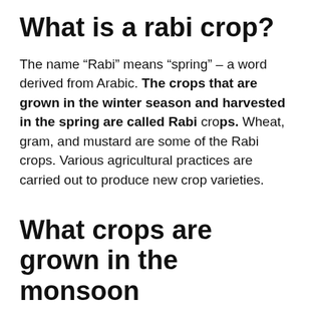What is a rabi crop?
The name “Rabi” means “spring” – a word derived from Arabic. The crops that are grown in the winter season and harvested in the spring are called Rabi crops. Wheat, gram, and mustard are some of the Rabi crops. Various agricultural practices are carried out to produce new crop varieties.
What crops are grown in the monsoon